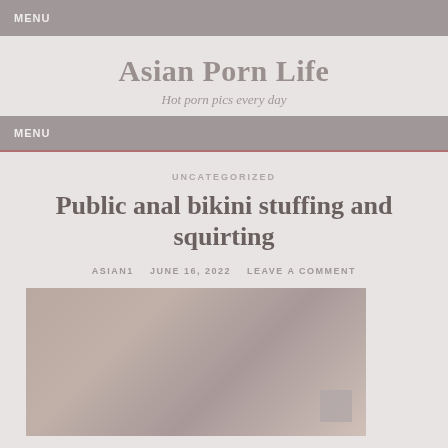MENU
Asian Porn Life
Hot porn pics every day
MENU
UNCATEGORIZED
Public anal bikini stuffing and squirting
ASIAN1   JUNE 16, 2022   LEAVE A COMMENT
[Figure (photo): Close-up photo of a person with short brown hair, partially visible face, with objects in the background]